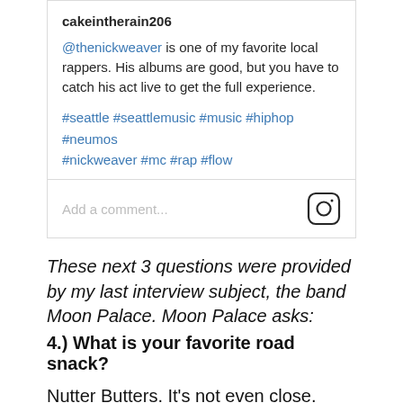cakeintherain206
@thenickweaver is one of my favorite local rappers. His albums are good, but you have to catch his act live to get the full experience.
#seattle #seattlemusic #music #hiphop #neumos #nickweaver #mc #rap #flow
Add a comment...
These next 3 questions were provided by my last interview subject, the band Moon Palace. Moon Palace asks:
4.) What is your favorite road snack?
Nutter Butters. It's not even close. Nutter Butters are the best thing ever. That sugary peanut butter is making my mouth water as I